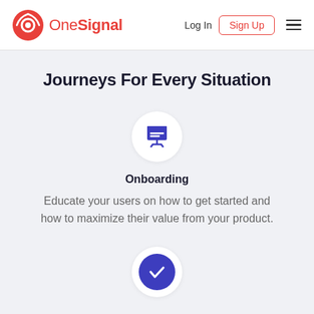OneSignal — Log In | Sign Up
Journeys For Every Situation
[Figure (illustration): Presentation board icon in a white circle on grey background]
Onboarding
Educate your users on how to get started and how to maximize their value from your product.
[Figure (illustration): Checkmark icon in a filled indigo circle on white circle on grey background]